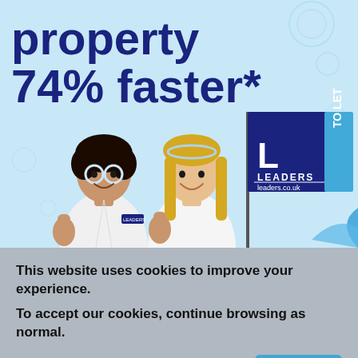[Figure (photo): Advertisement for Leaders estate agency showing two children dressed as scientists in white lab coats giving thumbs up, with a Leaders 'To Let' sign. Light blue background with geometric circle patterns. Text reads 'property 74% faster*' in dark navy bold font.]
This website uses cookies to improve your experience.
To accept our cookies, continue browsing as normal.
Accept